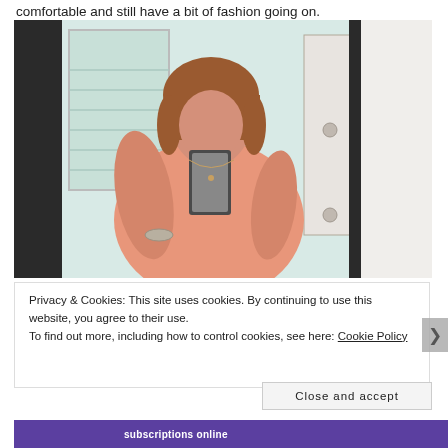comfortable and still have a bit of fashion going on.
[Figure (photo): A woman with a reddish-brown bob haircut taking a mirror selfie in a bathroom. She is wearing a peach/salmon colored top and holding a smartphone. A mirror and window with blinds are visible in the background.]
Privacy & Cookies: This site uses cookies. By continuing to use this website, you agree to their use.
To find out more, including how to control cookies, see here: Cookie Policy
Close and accept
subscriptions online